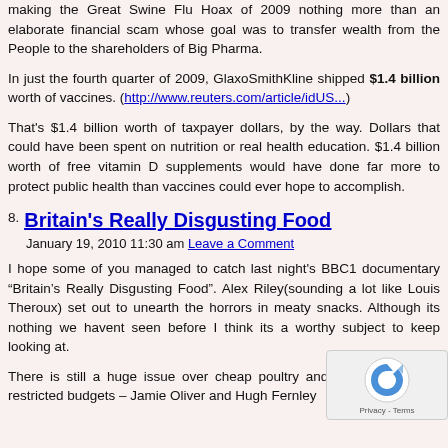making the Great Swine Flu Hoax of 2009 nothing more than an elaborate financial scam whose goal was to transfer wealth from the People to the shareholders of Big Pharma.
In just the fourth quarter of 2009, GlaxoSmithKline shipped $1.4 billion worth of vaccines. (http://www.reuters.com/article/idUS...)
That's $1.4 billion worth of taxpayer dollars, by the way. Dollars that could have been spent on nutrition or real health education. $1.4 billion worth of free vitamin D supplements would have done far more to protect public health than vaccines could ever hope to accomplish.
Britain's Really Disgusting Food
January 19, 2010 11:30 am Leave a Comment
I hope some of you managed to catch last night's BBC1 documentary “Britain’s Really Disgusting Food”. Alex Riley(sounding a lot like Louis Theroux) set out to unearth the horrors in meaty snacks. Although its nothing we havent seen before I think its a worthy subject to keep looking at.
There is still a huge issue over cheap poultry and mea on severely restricted budgets – Jamie Oliver and Hugh Fernley